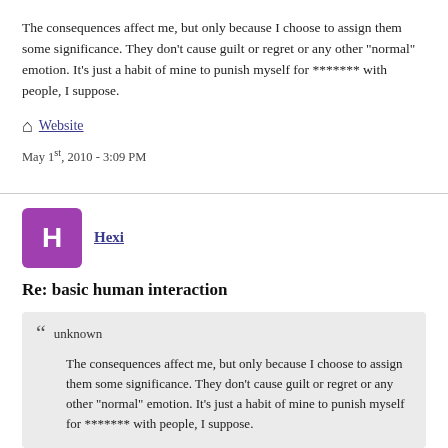The consequences affect me, but only because I choose to assign them some significance. They don't cause guilt or regret or any other "normal" emotion. It's just a habit of mine to punish myself for ******* with people, I suppose.
Website
May 1st, 2010 - 3:09 PM
Hexi
Re: basic human interaction
unknown
The consequences affect me, but only because I choose to assign them some significance. They don't cause guilt or regret or any other "normal" emotion. It's just a habit of mine to punish myself for ******* with people, I suppose.